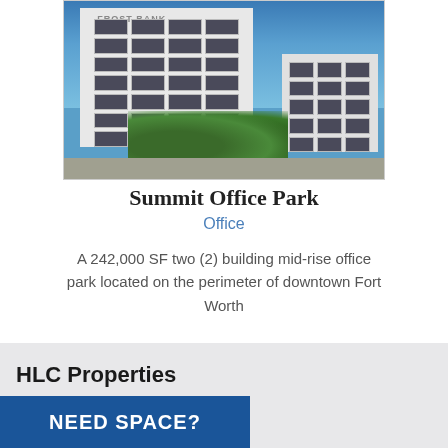[Figure (photo): Exterior photo of Summit Office Park showing two white mid-rise office buildings with Frost Bank signage against a blue sky with trees in the foreground]
Summit Office Park
Office
A 242,000 SF two (2) building mid-rise office park located on the perimeter of downtown Fort Worth
HLC Properties
NEED SPACE?